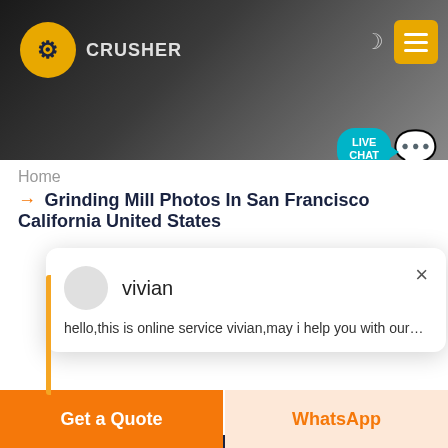[Figure (screenshot): Website header banner with dark rocky background, orange/yellow logo of industrial equipment on left, 'CRUSHER' text, moon icon and yellow menu button on top right, and LIVE CHAT teal bubble with purple speech icon bottom right]
Home
→ Grinding Mill Photos In San Francisco California United States
[Figure (screenshot): Live chat popup overlay with avatar circle, agent name 'vivian', close X button, and message: 'hello,this is online service vivian,may i help you with our mach']
LM Vertical Grinding Mill
We have successively launched vertical mill products independent intellectual property rights. Product Features
Get a Quote
WhatsApp